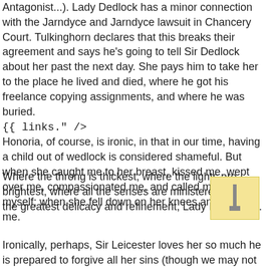Antagonist...). Lady Dedlock has a minor connection with the Jarndyce and Jarndyce lawsuit in Chancery Court. Tulkinghorn declares that this breaks their agreement and says he's going to tell Sir Dedlock about her past the next day. She pays him to take her to the place he lived and died, where he got his freelance copying assignments, and where he was buried. {{ links." />
Honoria, of course, is ironic, in that in our time, having a child out of wedlock is considered shameful. But when she caught me to her breast, kissed me, wept over me, compassionated me, and called me back to myself; when she fell down on her knees and cried to me.
Where the throng is thickest, where the lights are brightest, where all the senses are ministered to with the greatest delicacy and refinement, Lady Dedlock is.
Ironically, perhaps, Sir Leicester loves her so much he is prepared to forgive all her sins (though we may not think there